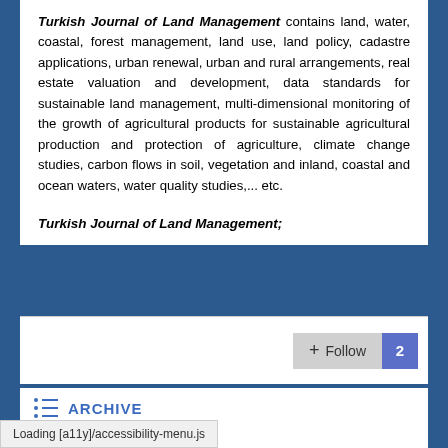Turkish Journal of Land Management contains land, water, coastal, forest management, land use, land policy, cadastre applications, urban renewal, urban and rural arrangements, real estate valuation and development, data standards for sustainable land management, multi-dimensional monitoring of the growth of agricultural products for sustainable agricultural production and protection of agriculture, climate change studies, carbon flows in soil, vegetation and inland, coastal and ocean waters, water quality studies,... etc.
Turkish Journal of Land Management;
+ Follow 2
ARCHIVE
Loading [a11y]/accessibility-menu.js